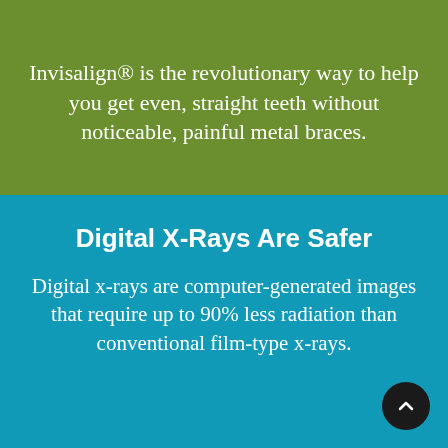Invisalign® is the revolutionary way to help you get even, straight teeth without noticeable, painful metal braces.
Digital X-Rays Are Safer
Digital x-rays are computer-generated images that require up to 90% less radiation than conventional film-type x-rays.